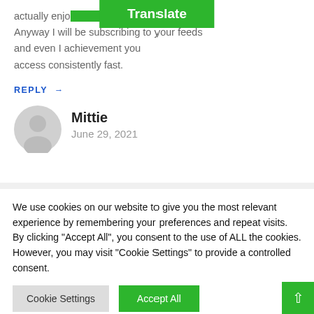actually enjoy your blog posts. Anyway I will be subscribing to your feeds and even I achievement you access consistently fast.
REPLY →
[Figure (illustration): Gray circular avatar/profile placeholder icon]
Mittie
June 29, 2021
We use cookies on our website to give you the most relevant experience by remembering your preferences and repeat visits. By clicking "Accept All", you consent to the use of ALL the cookies. However, you may visit "Cookie Settings" to provide a controlled consent.
Cookie Settings
Accept All